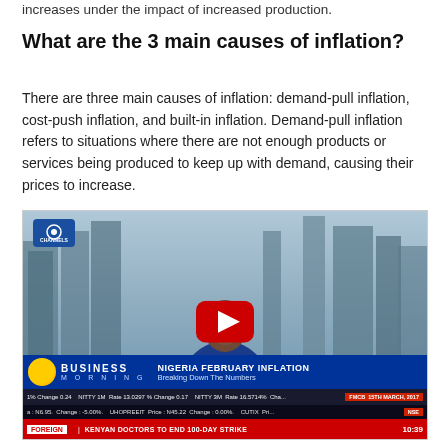increases under the impact of increased production.
What are the 3 main causes of inflation?
There are three main causes of inflation: demand-pull inflation, cost-push inflation, and built-in inflation. Demand-pull inflation refers to situations where there are not enough products or services being produced to keep up with demand, causing their prices to increase.
[Figure (screenshot): A YouTube video thumbnail showing a news anchor on Channels TV 'Business Morning' program with the chyron 'NIGERIA FEBRUARY INFLATION - Breaking Down The Numbers'. A YouTube play button overlay is visible. News tickers show stock data and the headline 'KENYAN DOCTORS TO END 100-DAY STRIKE'. Date shown: 15TH MARCH, 2017. Time: 10:39.]